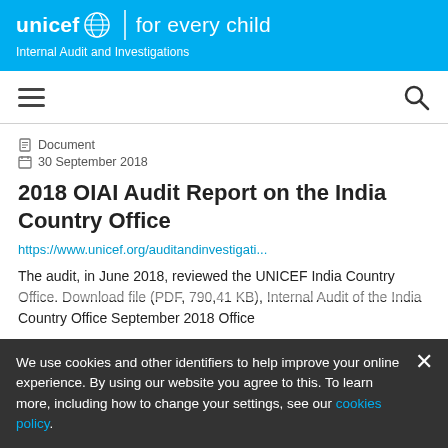unicef | for every child
Internal Audit and Investigations
Document
30 September 2018
2018 OIAI Audit Report on the India Country Office
https://www.unicef.org/auditandinvestigati...
The audit, in June 2018, reviewed the UNICEF India Country Office. Download file (PDF, 790,41 KB), Internal Audit of the India Country Office September 2018 Office
We use cookies and other identifiers to help improve your online experience. By using our website you agree to this. To learn more, including how to change your settings, see our cookies policy.